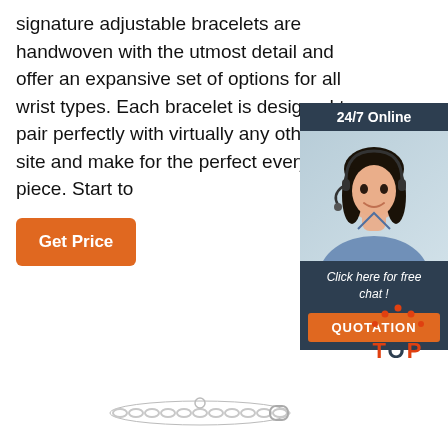signature adjustable bracelets are handwoven with the utmost detail and offer an expansive set of options for all wrist types. Each bracelet is designed to pair perfectly with virtually any other s site and make for the perfect every day piece. Start to
[Figure (other): Customer service chat widget with a woman wearing a headset, '24/7 Online' header, 'Click here for free chat!' text, and orange QUOTATION button]
Get Price
[Figure (logo): Orange and dark blue TOP logo with dotted arc above the letters]
[Figure (photo): Silver chain bracelet at bottom of page]